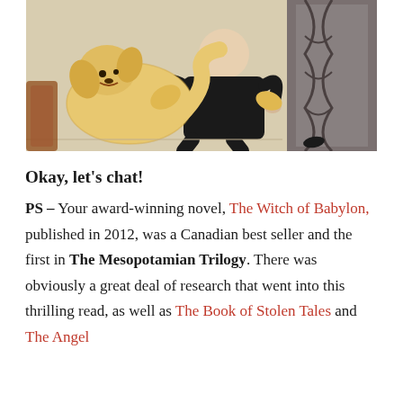[Figure (photo): A person dressed in black sitting with a large fluffy golden dog, photographed indoors near a door or window.]
Okay, let's chat!
PS - Your award-winning novel, The Witch of Babylon, published in 2012, was a Canadian best seller and the first in The Mesopotamian Trilogy. There was obviously a great deal of research that went into this thrilling read, as well as The Book of Stolen Tales and The Angel